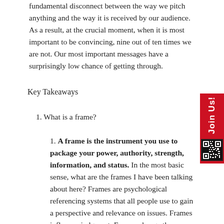fundamental disconnect between the way we pitch anything and the way it is received by our audience. As a result, at the crucial moment, when it is most important to be convincing, nine out of ten times we are not. Our most important messages have a surprisingly low chance of getting through.
Key Takeaways
What is a frame?
A frame is the instrument you use to package your power, authority, strength, information, and status. In the most basic sense, what are the frames I have been talking about here? Frames are psychological referencing systems that all people use to gain a perspective and relevance on issues. Frames influence judgment. Frames change the meaning of human behavior. And when you set the frame correctly,